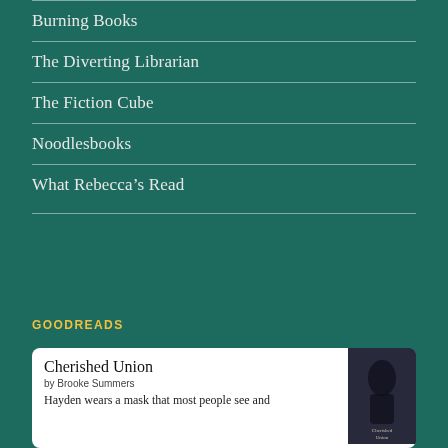Burning Books
The Diverting Librarian
The Fiction Cube
Noodlesbooks
What Rebecca's Read
GOODREADS
Cherished Union
by Brooke Summers
Hayden wears a mask that most people see and